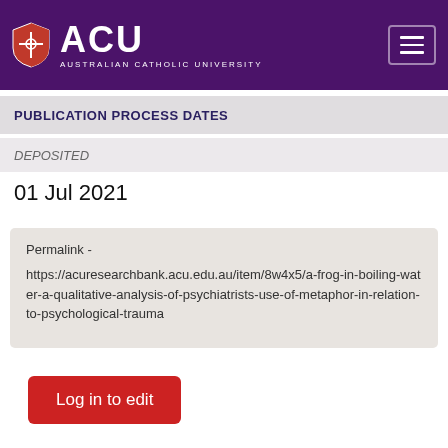ACU AUSTRALIAN CATHOLIC UNIVERSITY
PUBLICATION PROCESS DATES
DEPOSITED
01 Jul 2021
Permalink - https://acuresearchbank.acu.edu.au/item/8w4x5/a-frog-in-boiling-water-a-qualitative-analysis-of-psychiatrists-use-of-metaphor-in-relation-to-psychological-trauma
Log in to edit
Restricted files